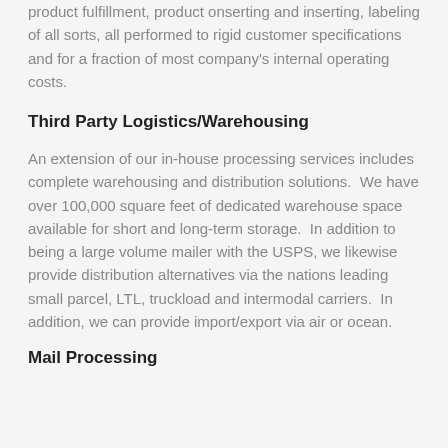product fulfillment, product onserting and inserting, labeling of all sorts, all performed to rigid customer specifications and for a fraction of most company's internal operating costs.
Third Party Logistics/Warehousing
An extension of our in-house processing services includes complete warehousing and distribution solutions.  We have over 100,000 square feet of dedicated warehouse space available for short and long-term storage.  In addition to being a large volume mailer with the USPS, we likewise provide distribution alternatives via the nations leading small parcel, LTL, truckload and intermodal carriers.  In addition, we can provide import/export via air or ocean.
Mail Processing